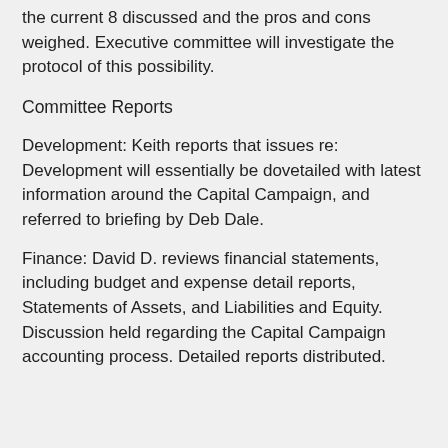the current 8 discussed and the pros and cons weighed. Executive committee will investigate the protocol of this possibility.
Committee Reports
Development: Keith reports that issues re: Development will essentially be dovetailed with latest information around the Capital Campaign, and referred to briefing by Deb Dale.
Finance: David D. reviews financial statements, including budget and expense detail reports, Statements of Assets, and Liabilities and Equity. Discussion held regarding the Capital Campaign accounting process. Detailed reports distributed.